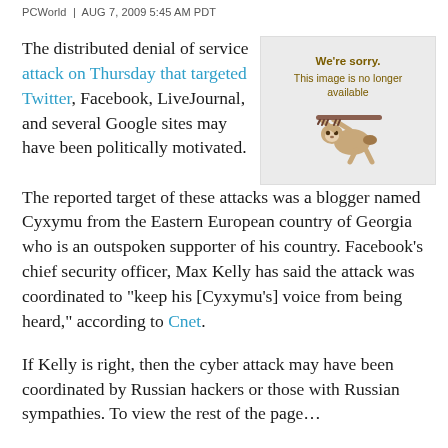PCWorld | AUG 7, 2009 5:45 AM PDT
The distributed denial of service attack on Thursday that targeted Twitter, Facebook, LiveJournal, and several Google sites may have been politically motivated. The reported target of these attacks was a blogger named Cyxymu from the Eastern European country of Georgia who is an outspoken supporter of his country. Facebook’s chief security officer, Max Kelly has said the attack was coordinated to “keep his [Cyxymu’s] voice from being heard,” according to Cnet.
[Figure (illustration): Sloth illustration with 'We're sorry. This image is no longer available' message on a grey background]
If Kelly is right, then the cyber attack may have been coordinated by Russian hackers or those with Russian sympathies. To view the rest of the page...